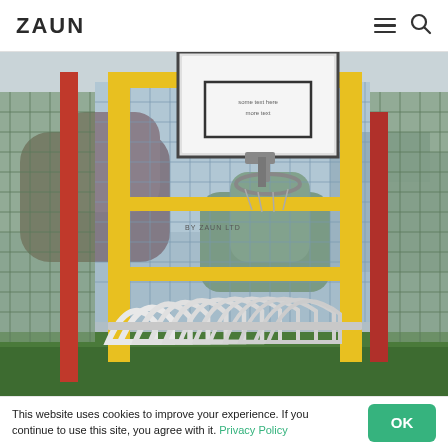ZAUN
[Figure (photo): Outdoor sports court fencing installation showing a basketball backboard and hoop mounted on yellow metal framing, with red vertical posts on either side and white arched metal barriers at the base. Wire mesh fencing panels visible in the background, with trees and buildings in the distance.]
This website uses cookies to improve your experience. If you continue to use this site, you agree with it. Privacy Policy